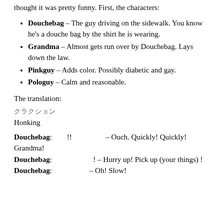thought it was pretty funny.  First, the characters:
Douchebag – The guy driving on the sidewalk.  You know he's a douche bag by the shirt he is wearing.
Grandma – Almost gets run over by Douchebag.  Lays down the law.
Pinkguy – Adds color.  Possibly diabetic and gay.
Pologuy – Calm and reasonable.
The translation:
クラクション
Honking
Douchebag: !! – Ouch.  Quickly!  Quickly!  Grandma!
Douchebag: ! – Hurry up! Pick up (your things) !
Douchebag: – Oh!  Slow!